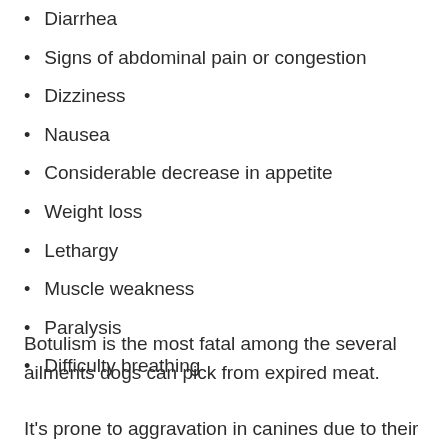Diarrhea
Signs of abdominal pain or congestion
Dizziness
Nausea
Considerable decrease in appetite
Weight loss
Lethargy
Muscle weakness
Paralysis
Difficulty breathing
Botulism is the most fatal among the several ailments dogs can pick from expired meat.
It's prone to aggravation in canines due to their